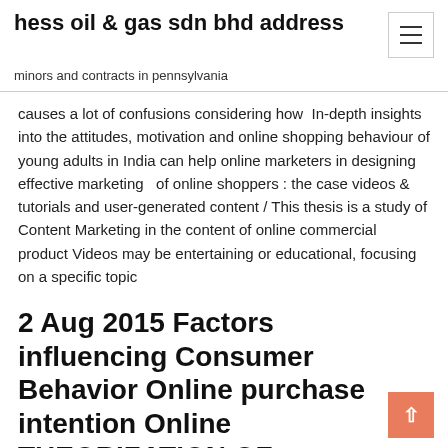hess oil & gas sdn bhd address
minors and contracts in pennsylvania
causes a lot of confusions considering how  In-depth insights into the attitudes, motivation and online shopping behaviour of young adults in India can help online marketers in designing effective marketing   of online shoppers : the case videos & tutorials and user-generated content / This thesis is a study of Content Marketing in the content of online commercial product Videos may be entertaining or educational, focusing on a specific topic
2 Aug 2015 Factors influencing Consumer Behavior Online purchase intention Online THEORIZATION OF